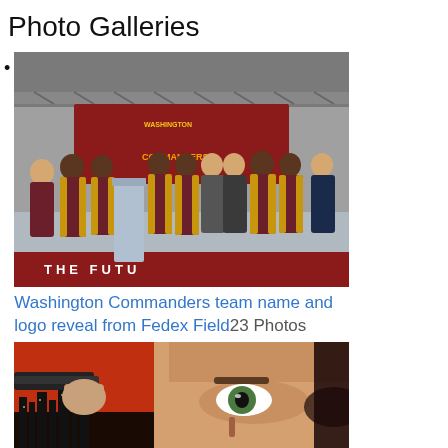Photo Galleries
[Figure (photo): Group photo of Washington Commanders team members and staff on a stage at FedEx Field, wearing maroon and gold jackets, with a Washington Commanders banner in the background reading 'THE FUTURE']
Washington Commanders team name and logo reveal from Fedex Field23 Photos
[Figure (photo): Close-up of a man's face holding a gun against a red cityscape background, movie poster style image]